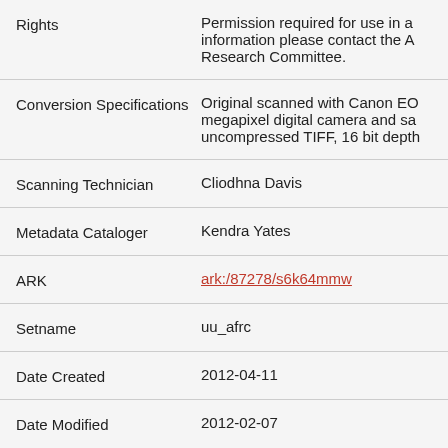| Field | Value |
| --- | --- |
| Rights | Permission required for use in any publication. For information please contact the A... Research Committee. |
| Conversion Specifications | Original scanned with Canon EO... megapixel digital camera and sa... uncompressed TIFF, 16 bit depth... |
| Scanning Technician | Cliodhna Davis |
| Metadata Cataloger | Kendra Yates |
| ARK | ark:/87278/s6k64mmw |
| Setname | uu_afrc |
| Date Created | 2012-04-11 |
| Date Modified | 2012-02-07 |